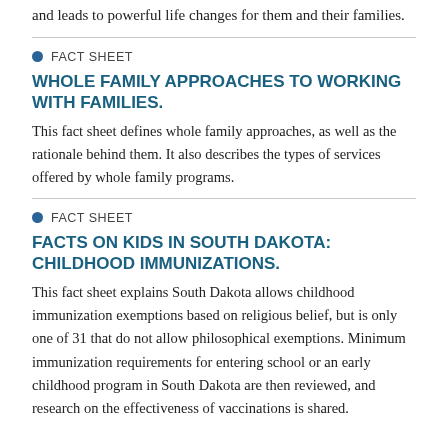and leads to powerful life changes for them and their families.
● FACT SHEET
WHOLE FAMILY APPROACHES TO WORKING WITH FAMILIES.
This fact sheet defines whole family approaches, as well as the rationale behind them. It also describes the types of services offered by whole family programs.
● FACT SHEET
FACTS ON KIDS IN SOUTH DAKOTA: CHILDHOOD IMMUNIZATIONS.
This fact sheet explains South Dakota allows childhood immunization exemptions based on religious belief, but is only one of 31 that do not allow philosophical exemptions. Minimum immunization requirements for entering school or an early childhood program in South Dakota are then reviewed, and research on the effectiveness of vaccinations is shared.